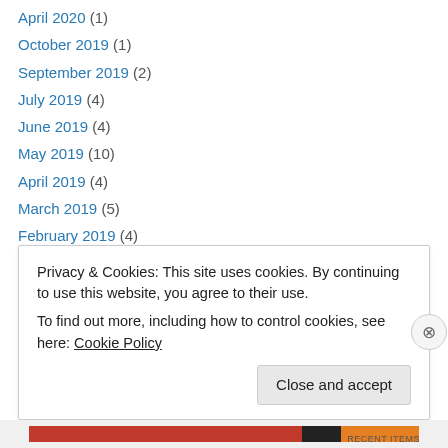April 2020 (1)
October 2019 (1)
September 2019 (2)
July 2019 (4)
June 2019 (4)
May 2019 (10)
April 2019 (4)
March 2019 (5)
February 2019 (4)
January 2019 (5)
December 2018 (5)
November 2018 (6)
October 2018 (5)
Privacy & Cookies: This site uses cookies. By continuing to use this website, you agree to their use. To find out more, including how to control cookies, see here: Cookie Policy
Close and accept